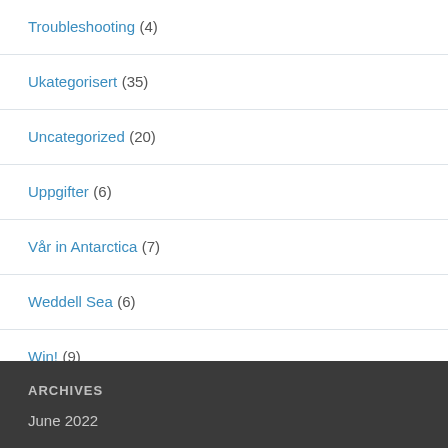Troubleshooting (4)
Ukategorisert (35)
Uncategorized (20)
Uppgifter (6)
Vår in Antarctica (7)
Weddell Sea (6)
Win! (9)
ARCHIVES
June 2022